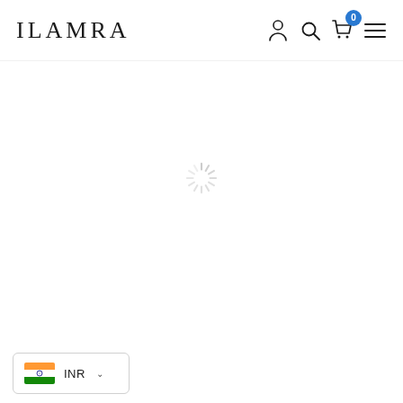ILAMRA
[Figure (screenshot): Loading spinner (sunburst/starburst style) in the center of the page, indicating content is loading]
[Figure (other): Indian flag emoji with INR currency selector dropdown widget in bottom-left corner]